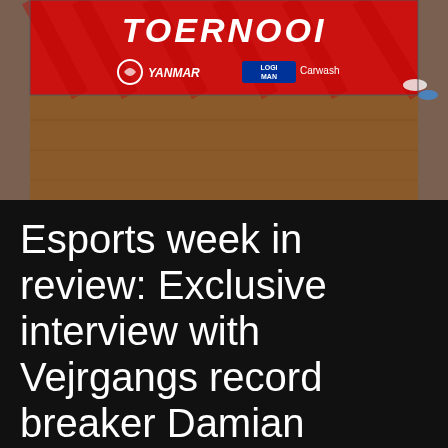[Figure (photo): Red tournament banner with YANMAR and Carwash logos on a wooden floor background]
Esports week in review: Exclusive interview with Vejrgangs record breaker Damian Sitaram
monstarsinc  February 22, 2021
FIFA, Games, General News
POST Esports Monstarsinc's esports | POST